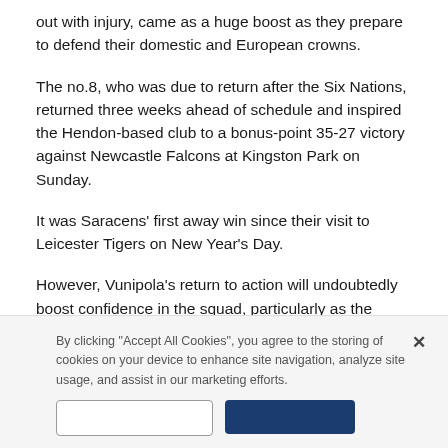out with injury, came as a huge boost as they prepare to defend their domestic and European crowns.
The no.8, who was due to return after the Six Nations, returned three weeks ahead of schedule and inspired the Hendon-based club to a bonus-point 35-27 victory against Newcastle Falcons at Kingston Park on Sunday.
It was Saracens’ first away win since their visit to Leicester Tigers on New Year’s Day.
However, Vunipola’s return to action will undoubtedly boost confidence in the squad, particularly as the
By clicking “Accept All Cookies”, you agree to the storing of cookies on your device to enhance site navigation, analyze site usage, and assist in our marketing efforts.